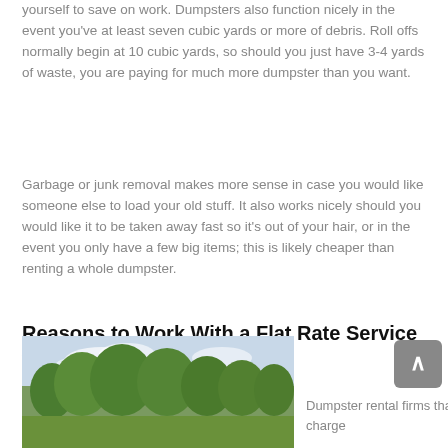yourself to save on work. Dumpsters also function nicely in the event you've at least seven cubic yards or more of debris. Roll offs normally begin at 10 cubic yards, so should you just have 3-4 yards of waste, you are paying for much more dumpster than you want.
Garbage or junk removal makes more sense in case you would like someone else to load your old stuff. It also works nicely should you would like it to be taken away fast so it's out of your hair, or in the event you only have a few big items; this is likely cheaper than renting a whole dumpster.
Reasons to Work With a Flat Rate Service when Renting a Dumpster
[Figure (photo): Outdoor photo showing trees and sky]
Dumpster rental firms that charge